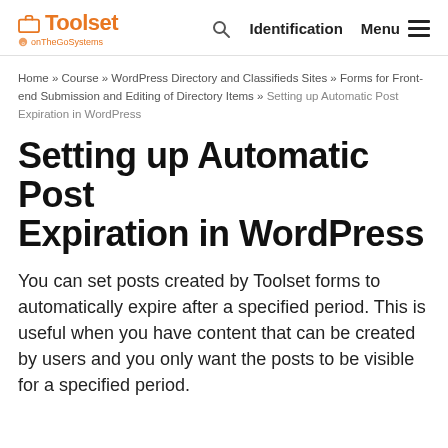Toolset by onTheGoSystems | Search | Identification | Menu
Home » Course » WordPress Directory and Classifieds Sites » Forms for Front-end Submission and Editing of Directory Items » Setting up Automatic Post Expiration in WordPress
Setting up Automatic Post Expiration in WordPress
You can set posts created by Toolset forms to automatically expire after a specified period. This is useful when you have content that can be created by users and you only want the posts to be visible for a specified period.